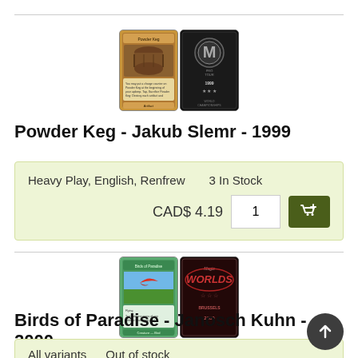[Figure (photo): Powder Keg magic card front face paired with Magic Worlds 1999 card back]
Powder Keg - Jakub Slemr - 1999
| Heavy Play, English, Renfrew | 3 In Stock | CAD$ 4.19 | 1 | Add to cart |
[Figure (photo): Birds of Paradise magic card front face paired with Magic Worlds 2000 Brussels card back]
Birds of Paradise - Janosch Kuhn - 2000
All variants    Out of stock